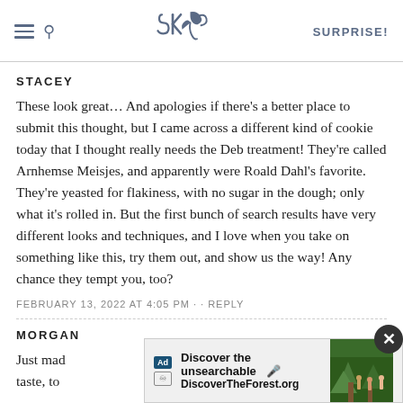SK — SURPRISE!
STACEY
These look great... And apologies if there's a better place to submit this thought, but I came across a different kind of cookie today that I thought really needs the Deb treatment! They're called Arnhemse Meisjes, and apparently were Roald Dahl's favorite. They're yeasted for flakiness, with no sugar in the dough; only what it's rolled in. But the first bunch of search results have very different looks and techniques, and I love when you take on something like this, try them out, and show us the way! Any chance they tempt you, too?
FEBRUARY 13, 2022 AT 4:05 PM · · REPLY
MORGAN
Just mad...ery taste, to...cookies
[Figure (screenshot): Ad overlay: Discover the unsearchable / DiscoverTheForest.org with close button and forest photo]